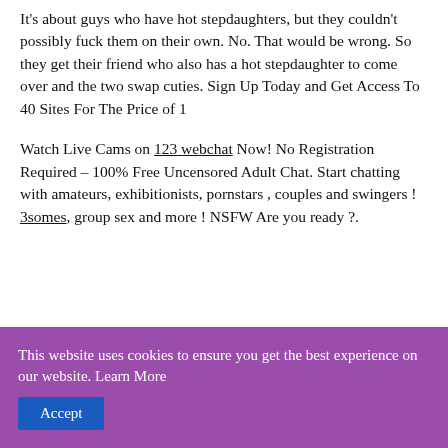It's about guys who have hot stepdaughters, but they couldn't possibly fuck them on their own. No. That would be wrong. So they get their friend who also has a hot stepdaughter to come over and the two swap cuties. Sign Up Today and Get Access To 40 Sites For The Price of 1
Watch Live Cams on 123 webchat Now! No Registration Required – 100% Free Uncensored Adult Chat. Start chatting with amateurs, exhibitionists, pornstars , couples and swingers ! 3somes, group sex and more ! NSFW Are you ready ?.
...
This website uses cookies to ensure you get the best experience on our website. Learn More
Accept